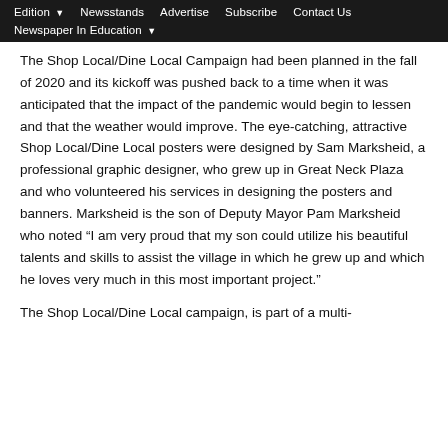Edition | Newsstands | Advertise | Subscribe | Contact Us | Newspaper In Education
The Shop Local/Dine Local Campaign had been planned in the fall of 2020 and its kickoff was pushed back to a time when it was anticipated that the impact of the pandemic would begin to lessen and that the weather would improve. The eye-catching, attractive Shop Local/Dine Local posters were designed by Sam Marksheid, a professional graphic designer, who grew up in Great Neck Plaza and who volunteered his services in designing the posters and banners. Marksheid is the son of Deputy Mayor Pam Marksheid who noted “I am very proud that my son could utilize his beautiful talents and skills to assist the village in which he grew up and which he loves very much in this most important project.”
The Shop Local/Dine Local campaign, is part of a multi-